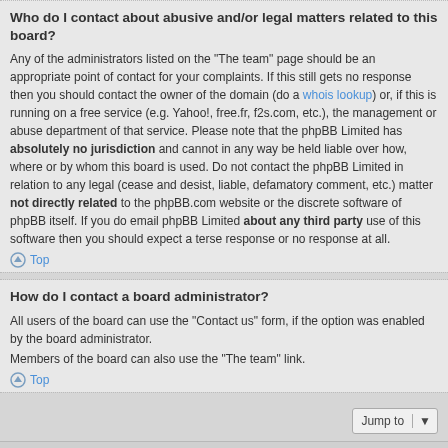Who do I contact about abusive and/or legal matters related to this board?
Any of the administrators listed on the “The team” page should be an appropriate point of contact for your complaints. If this still gets no response then you should contact the owner of the domain (do a whois lookup) or, if this is running on a free service (e.g. Yahoo!, free.fr, f2s.com, etc.), the management or abuse department of that service. Please note that the phpBB Limited has absolutely no jurisdiction and cannot in any way be held liable over how, where or by whom this board is used. Do not contact the phpBB Limited in relation to any legal (cease and desist, liable, defamatory comment, etc.) matter not directly related to the phpBB.com website or the discrete software of phpBB itself. If you do email phpBB Limited about any third party use of this software then you should expect a terse response or no response at all.
Top
How do I contact a board administrator?
All users of the board can use the “Contact us” form, if the option was enabled by the board administrator.
Members of the board can also use the "The team" link.
Top
Board index | The team | Delete all board cookies | All times are UTC
Powered by phpBB® Forum Software © phpBB Limited